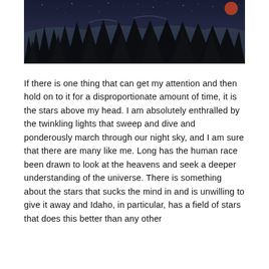[Figure (photo): Night landscape photo showing tall dark evergreen/pine trees silhouetted against a dark blue-grey starry sky with a red/orange moon visible on the upper right.]
If there is one thing that can get my attention and then hold on to it for a disproportionate amount of time, it is the stars above my head. I am absolutely enthralled by the twinkling lights that sweep and dive and ponderously march through our night sky, and I am sure that there are many like me. Long has the human race been drawn to look at the heavens and seek a deeper understanding of the universe. There is something about the stars that sucks the mind in and is unwilling to give it away and Idaho, in particular, has a field of stars that does this better than any other